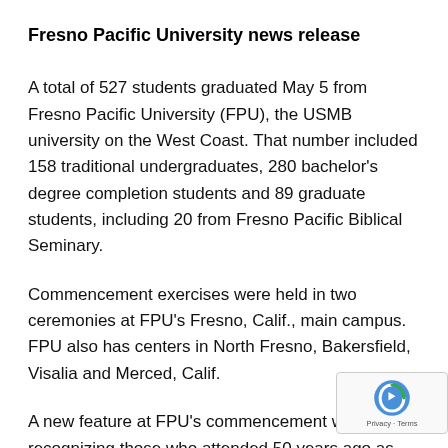Fresno Pacific University news release
A total of 527 students graduated May 5 from Fresno Pacific University (FPU), the USMB university on the West Coast. That number included 158 traditional undergraduates, 280 bachelor's degree completion students and 89 graduate students, including 20 from Fresno Pacific Biblical Seminary.
Commencement exercises were held in two ceremonies at FPU's Fresno, Calif., main campus. FPU also has centers in North Fresno, Bakersfield, Visalia and Merced, Calif.
A new feature at FPU's commencement was recognizing those who attended 50 years ago as Golden Alumni. All members of the Pacific College classes of 1960-1962 had their names listed in the commencement program, were invited to a luncheon and received commemorative sashes.